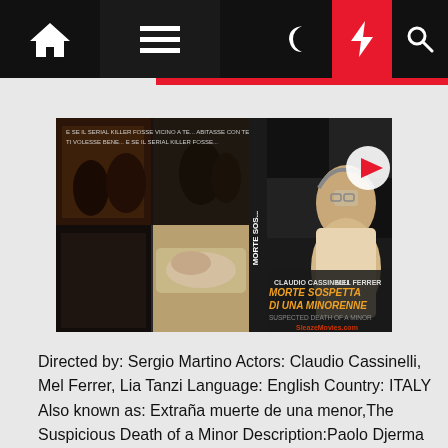Navigation bar with home, menu, moon, bolt, and search icons
[Figure (photo): Movie collage for 'Morte Sospetta di una Minorenne' showing multiple film stills on the left side and a movie poster on the right featuring a woman with headphones. A play button is visible. Text shows CLAUDIO CASSINELLI, MEL FERRER, MORTE SOSPETTA DI UNA MINORENNE, SleazeMovies.com]
Directed by: Sergio Martino Actors: Claudio Cassinelli, Mel Ferrer, Lia Tanzi Language: English Country: ITALY Also known as: Extraña muerte de una menor,The Suspicious Death of a Minor Description:Paolo Djerma learns that the city one of